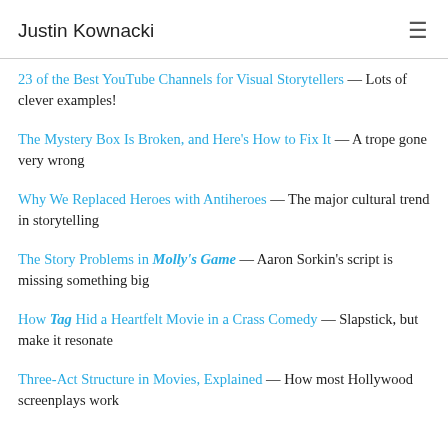Justin Kownacki
23 of the Best YouTube Channels for Visual Storytellers — Lots of clever examples!
The Mystery Box Is Broken, and Here's How to Fix It — A trope gone very wrong
Why We Replaced Heroes with Antiheroes — The major cultural trend in storytelling
The Story Problems in Molly's Game — Aaron Sorkin's script is missing something big
How Tag Hid a Heartfelt Movie in a Crass Comedy — Slapstick, but make it resonate
Three-Act Structure in Movies, Explained — How most Hollywood screenplays work